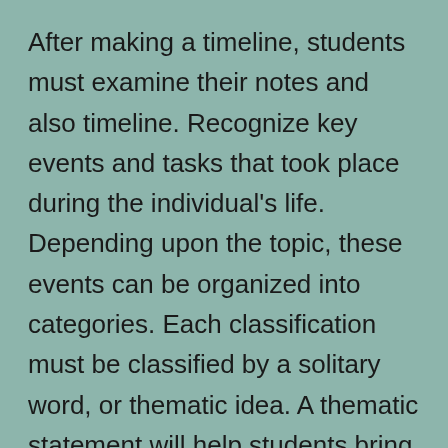After making a timeline, students must examine their notes and also timeline. Recognize key events and tasks that took place during the individual's life. Depending upon the topic, these events can be organized into categories. Each classification must be classified by a solitary word, or thematic idea. A thematic statement will help students bring extra implying to the bio. Once they have actually sorted out the crucial occasions and also motifs, they can start writing a narrative.
Once trainees have chosen a topic, they